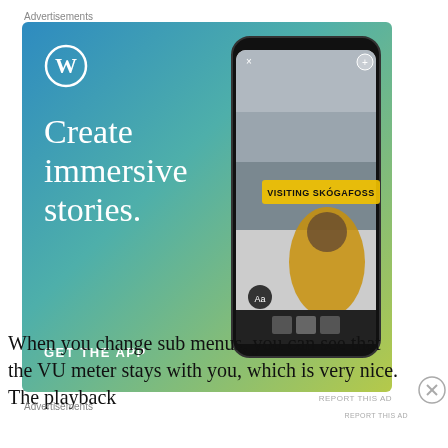Advertisements
[Figure (illustration): WordPress advertisement banner with gradient blue-green-yellow background, WordPress 'W' circle logo top-left, large serif white text reading 'Create immersive stories.', a GET THE APP call-to-action, and a smartphone mockup on the right showing a story titled 'VISITING SKÓGAFOSS' with a person in a yellow jacket looking up at a waterfall.]
When you change sub menus, you can see that the VU meter stays with you, which is very nice. The playback
Advertisements
[Figure (illustration): Dark advertisement banner with a white circle icon showing a person silhouette with graduation cap, teal text reading 'Turn your blog into a money-making online course.' and a right-pointing arrow.]